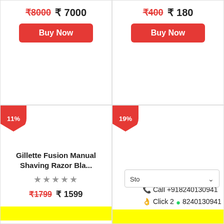₹8000 ₹7000
Buy Now
₹400 ₹180
Buy Now
11%
19%
Gillette Fusion Manual Shaving Razor Bla...
★★★★★
₹1799 ₹1599
Sto... ∨
📞 Call +918240130941
🖐 Click 2 💬 8240130941